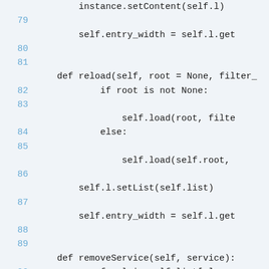Code snippet showing Python methods: reload and removeService with line numbers 79-90
instance.setContent(self.l)
79
self.entry_width = self.l.get...
80
81
def reload(self, root = None, filter_...
82    if root is not None:
83
self.load(root, filte...
84    else:
85
self.load(self.root, ...
86
self.l.setList(self.list)
87
self.entry_width = self.l.get...
88
89
def removeService(self, service):
90    for l in self.list[:]: